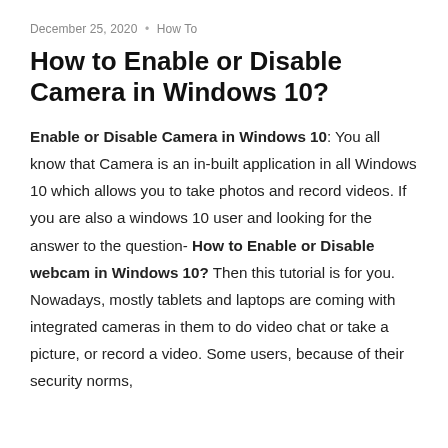December 25, 2020  •  How To
How to Enable or Disable Camera in Windows 10?
Enable or Disable Camera in Windows 10: You all know that Camera is an in-built application in all Windows 10 which allows you to take photos and record videos. If you are also a windows 10 user and looking for the answer to the question- How to Enable or Disable webcam in Windows 10? Then this tutorial is for you. Nowadays, mostly tablets and laptops are coming with integrated cameras in them to do video chat or take a picture, or record a video. Some users, because of their security norms,